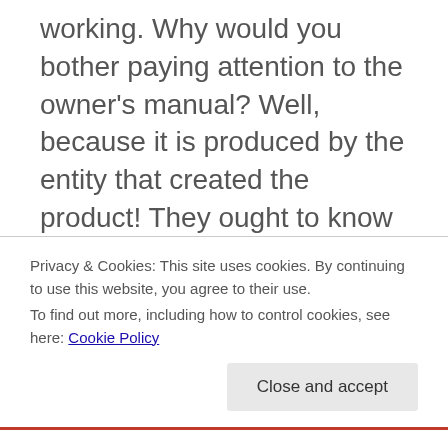working.  Why would you bother paying attention to the owner's manual?  Well, because it is produced by the entity that created the product!  They ought to know the best way for the product to function.  If you agree that you have a Creator and that Creator knows you, and that Creator loves you, and that Creator is all powerful and all knowing, then doesn't it make sense to place your trust in what He has communicated to His Creation?
Privacy & Cookies: This site uses cookies. By continuing to use this website, you agree to their use.
To find out more, including how to control cookies, see here: Cookie Policy